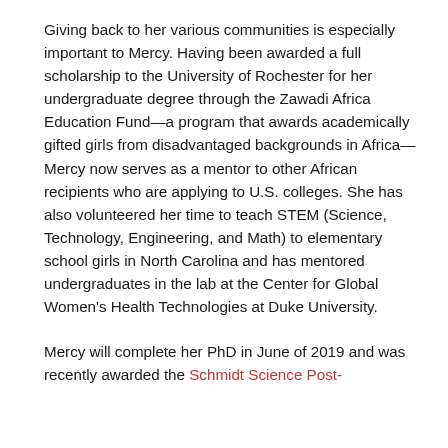Giving back to her various communities is especially important to Mercy. Having been awarded a full scholarship to the University of Rochester for her undergraduate degree through the Zawadi Africa Education Fund—a program that awards academically gifted girls from disadvantaged backgrounds in Africa—Mercy now serves as a mentor to other African recipients who are applying to U.S. colleges. She has also volunteered her time to teach STEM (Science, Technology, Engineering, and Math) to elementary school girls in North Carolina and has mentored undergraduates in the lab at the Center for Global Women's Health Technologies at Duke University.
Mercy will complete her PhD in June of 2019 and was recently awarded the Schmidt Science Post-